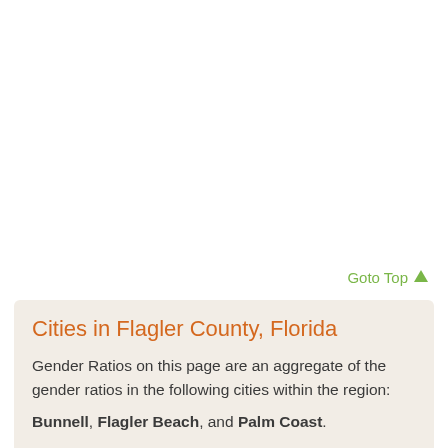Goto Top ↑
Cities in Flagler County, Florida
Gender Ratios on this page are an aggregate of the gender ratios in the following cities within the region:
Bunnell, Flagler Beach, and Palm Coast.
Other acceptable city names that fall in this